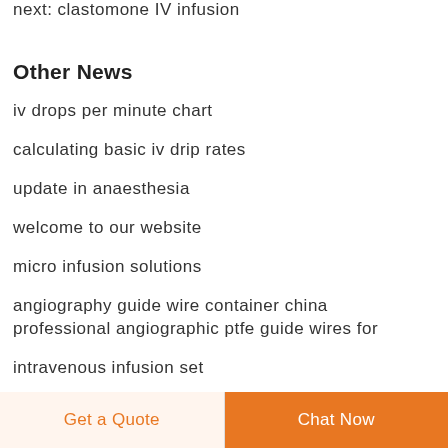next: clastomone IV infusion
Other News
iv drops per minute chart
calculating basic iv drip rates
update in anaesthesia
welcome to our website
micro infusion solutions
angiography guide wire container china professional angiographic ptfe guide wires for
intravenous infusion set
Get a Quote  Chat Now